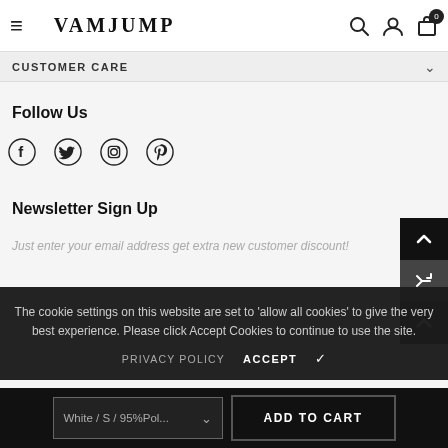VAMJUMP
CUSTOMER CARE
Follow Us
[Figure (illustration): Social media icons: Facebook, Twitter, Instagram, Pinterest]
Newsletter Sign Up
Just enter your email address get extra new customer discount!
The cookie settings on this website are set to 'allow all cookies' to give the very best experience. Please click Accept Cookies to continue to use the site.
PRIVACY POLICY   ACCEPT ✔
White / S / 95%Pol...   ADD TO CART